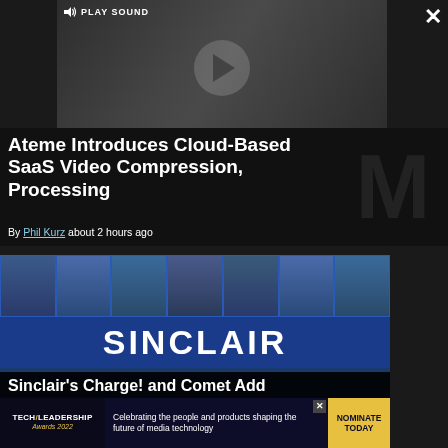[Figure (screenshot): Video player with play button and 'PLAY SOUND' label, dark background, TV studio thumbnail]
Ateme Introduces Cloud-Based SaaS Video Compression, Processing
By Phil Kurz about 2 hours ago
[Figure (screenshot): Sinclair broadcast news collage showing anchors from multiple stations with SINCLAIR logo and headline 'Sinclair's Charge! and Comet Add']
[Figure (infographic): Ad banner: TECH/LEADERSHIP Awards 2022 - Celebrating the people and products shaping the future of media technology. NOMINATE TODAY button.]